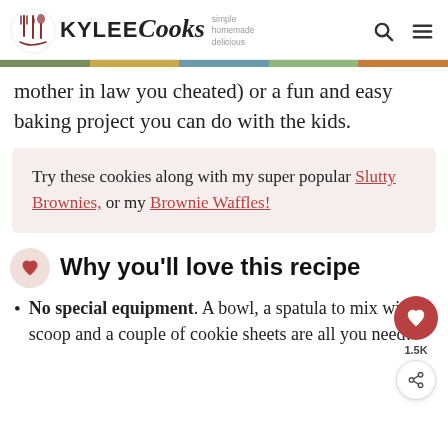Kylee Cooks – simple homemade delicious
mother in law you cheated) or a fun and easy baking project you can do with the kids.
Try these cookies along with my super popular Slutty Brownies, or my Brownie Waffles!
Why you'll love this recipe
No special equipment. A bowl, a spatula to mix with, a scoop and a couple of cookie sheets are all you need!